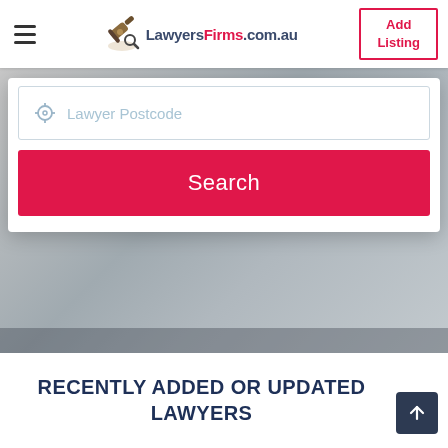LawyersFirms.com.au | Add Listing
[Figure (screenshot): Search form with Lawyer Postcode input field and crosshair icon, followed by a pink/red Search button, on a grey blurred background hero image]
RECENTLY ADDED OR UPDATED LAWYERS